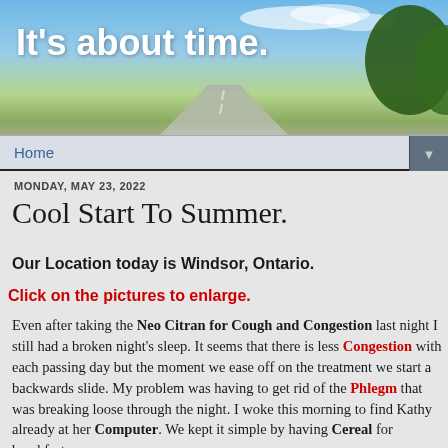[Figure (photo): Blog header banner showing a road stretching into the distance under a blue sky with clouds and trees on the right side]
It's about time.
Home
MONDAY, MAY 23, 2022
Cool Start To Summer.
Our Location today is Windsor, Ontario.
Click on the pictures to enlarge.
Even after taking the Neo Citran for Cough and Congestion last night I still had a broken night's sleep. It seems that there is less Congestion with each passing day but the moment we ease off on the treatment we start a backwards slide. My problem was having to get rid of the Phlegm that was breaking loose through the night. I woke this morning to find Kathy already at her Computer. We kept it simple by having Cereal for breakfast.